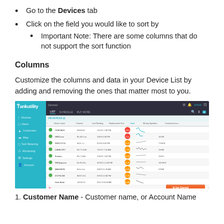Go to the Devices tab
Click on the field you would like to sort by
Important Note: There are some columns that do not support the sort function
Columns
Customize the columns and data in your Device List by adding and removing the ones that matter most to you.
[Figure (screenshot): TankUtility application screenshot showing the Devices tab with a list of devices including device names, status indicators, last reading, replacement due dates, level percentages shown as colored circles, 30-day sparkline graphs, and customer/location columns. Navigation sidebar on the left shows teal background with menu items. A Get Started button appears in the bottom right.]
Customer Name - Customer name, or Account Name